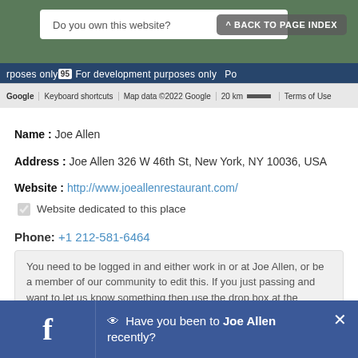[Figure (screenshot): Google Maps screenshot showing a map area with a 'Do you own this website?' dialog overlay and a 'Back to Page Index' button. Map bar shows keyboard shortcuts, map data 2022 Google, 20km scale, Terms of Use. Development purposes only banner visible.]
Name : Joe Allen
Address : Joe Allen 326 W 46th St, New York, NY 10036, USA
Website : http://www.joeallenrestaurant.com/
Website dedicated to this place
Phone: +1 212-581-6464
You need to be logged in and either work in or at Joe Allen, or be a member of our community to edit this. If you just passing and want to let us know something then use the drop box at the bottom of the page.
Do you work at Joe Allen ? Then to become Page Location...
Have you been to Joe Allen recently?